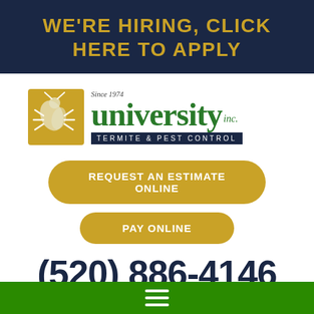WE'RE HIRING, CLICK HERE TO APPLY
[Figure (logo): University Inc. Termite & Pest Control logo with golden square icon showing pest imagery, green 'university' text, 'inc.' in green, 'Since 1974' above, and dark navy bar reading 'Termite & Pest Control']
REQUEST AN ESTIMATE ONLINE
PAY ONLINE
(520) 886-4146
[Figure (other): Green footer bar with white hamburger menu icon (three horizontal lines)]